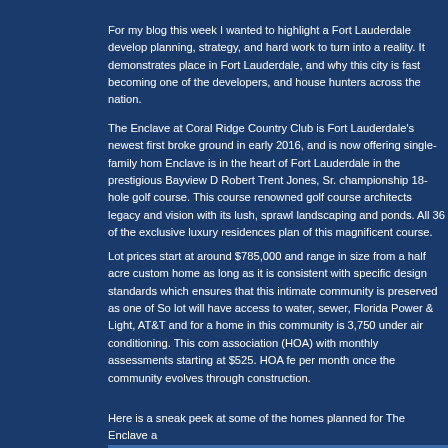For my blog this week I wanted to highlight a Fort Lauderdale develop planning, strategy, and hard work to turn into a reality. It demonstrates place in Fort Lauderdale, and why this city is fast becoming one of the developers, and house hunters across the nation.
The Enclave at Coral Ridge Country Club is Fort Lauderdale's newest first broke ground in early 2016, and is now offering single-family hom Enclave is in the heart of Fort Lauderdale in the prestigious Bayview D Robert Trent Jones, Sr. championship 18-hole golf course. This course renowned golf course architects legacy and vision with its lush, sprawl landscaping and ponds. All 36 of the exclusive luxury residences plan of this magnificent course.
Lot prices start at around $785,000 and range in size from a half acre custom home as long as it is consistent with specific design standards which ensures that this intimate community is preserved as one of So lot will have access to water, sewer, Florida Power & Light, AT&T and for a home in this community is 3,750 under air conditioning. This com association (HOA) with monthly assessments starting at $525. HOA fe per month once the community evolves through construction.
Here is a sneak peek at some of the homes planned for The Enclave a